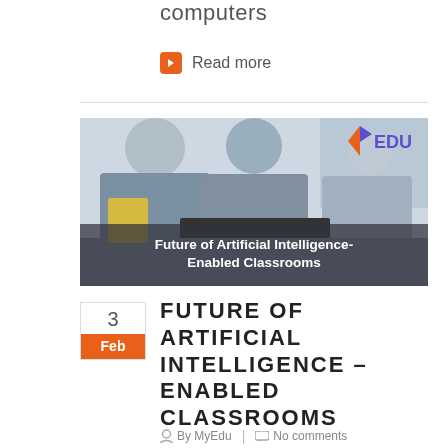computers
Read more
[Figure (photo): Three students working on computers in a classroom, with an EDU logo in the top right corner. Overlay text reads 'Future of Artificial Intelligence-Enabled Classrooms'.]
3
Feb
FUTURE OF ARTIFICIAL INTELLIGENCE – ENABLED CLASSROOMS
By MyEdu | No comments